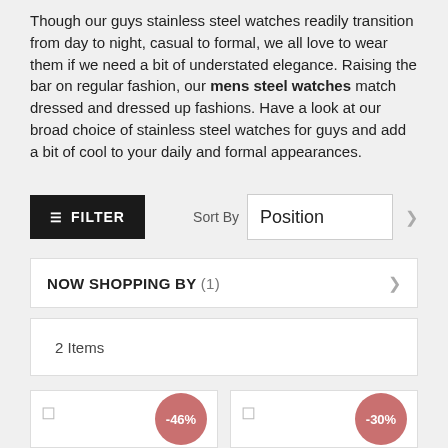Though our guys stainless steel watches readily transition from day to night, casual to formal, we all love to wear them if we need a bit of understated elegance. Raising the bar on regular fashion, our mens steel watches match dressed and dressed up fashions. Have a look at our broad choice of stainless steel watches for guys and add a bit of cool to your daily and formal appearances.
FILTER | Sort By Position
NOW SHOPPING BY (1)
2 Items
[Figure (screenshot): Two product cards showing discount badges of -46% and -30%]